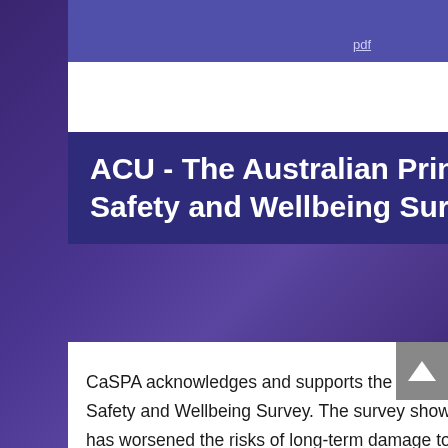pdf   3.11 MB
ACU - The Australian Principal Occupational Health, Safety and Wellbeing Survey 2021 Data
CaSPA acknowledges and supports the release of the 2021 Australian Principal Occupational Health, Safety and Wellbeing Survey. The survey shows that the ongoing impact of COVID-19 on schools has worsened the risks of long-term damage to principals' health and wellbeing. The Survey again confirms that principals work longer hours, suffer far higher levels of work-related stress and are at greater risk of physical